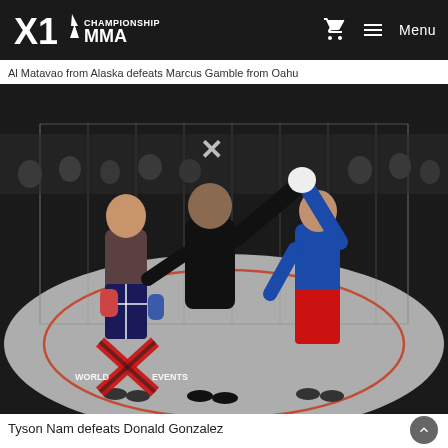X1 Championship MMA — Menu
Al Matavao from Alaska defeats Marcus Gamble from Oahu
[Figure (photo): MMA fight scene: a referee in black raises the arm of a fighter in a blue shirt and red shorts (winner), while the other fighter in Hawaiian flag shorts stands to the left. X World Events logo visible in bottom left corner of the octagon.]
Tyson Nam defeats Donald Gonzalez